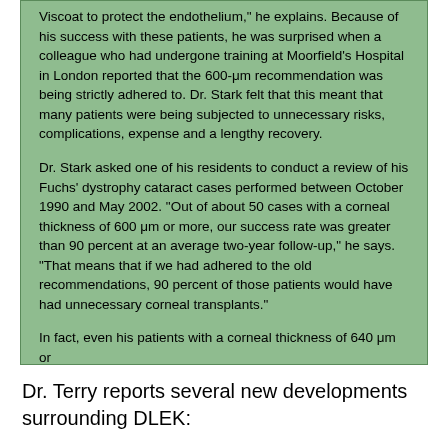Viscoat to protect the endothelium," he explains. Because of his success with these patients, he was surprised when a colleague who had undergone training at Moorfield's Hospital in London reported that the 600-μm recommendation was being strictly adhered to. Dr. Stark felt that this meant that many patients were being subjected to unnecessary risks, complications, expense and a lengthy recovery.

Dr. Stark asked one of his residents to conduct a review of his Fuchs' dystrophy cataract cases performed between October 1990 and May 2002. "Out of about 50 cases with a corneal thickness of 600 μm or more, our success rate was greater than 90 percent at an average two-year follow-up," he says. "That means that if we had adhered to the old recommendations, 90 percent of those patients would have had unnecessary corneal transplants."

In fact, even his patients with a corneal thickness of 640 μm or
Dr. Terry reports several new developments surrounding DLEK: